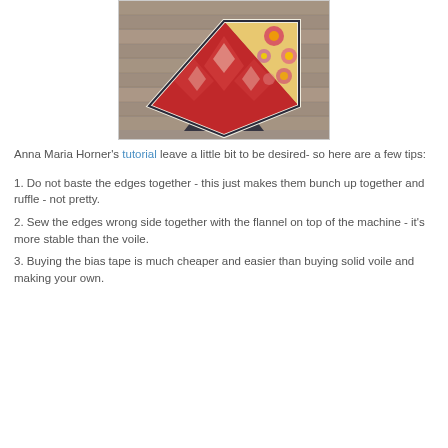[Figure (photo): A folded quilt or blanket with floral and red patterned fabric, placed on a wooden deck surface. The quilt has decorative bias tape edging.]
Anna Maria Horner's tutorial leave a little bit to be desired- so here are a few tips:
1. Do not baste the edges together - this just makes them bunch up together and ruffle - not pretty.
2. Sew the edges wrong side together with the flannel on top of the machine - it's more stable than the voile.
3. Buying the bias tape is much cheaper and easier than buying solid voile and making your own.